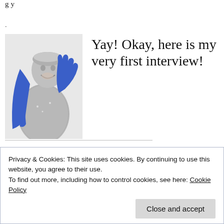g y
.
[Figure (photo): A person in a silver costume with blue hair/wig, smiling and waving, wearing blue gloves]
Yay! Okay, here is my very first interview!
Cheer me on, Earthlings!
Privacy & Cookies: This site uses cookies. By continuing to use this website, you agree to their use.
To find out more, including how to control cookies, see here: Cookie Policy
Close and accept